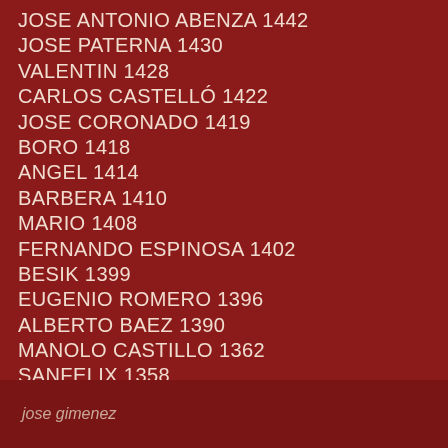JOSE ANTONIO ABENZA 1442
JOSE PATERNA 1430
VALENTIN 1428
CARLOS CASTELLÓ 1422
JOSE CORONADO 1419
BORO 1418
ANGEL 1414
BARBERA 1410
MARIO 1408
FERNANDO ESPINOSA 1402
BESIK 1399
EUGENIO ROMERO 1396
ALBERTO BAEZ 1390
MANOLO CASTILLO 1362
SANFELIX 1358
CHUS ESTELLER 1306
JUAN PAULO 1286
CHRISTIAN CARLSEN 1248
ENRIQUE PARDO 1244
jose gimenez